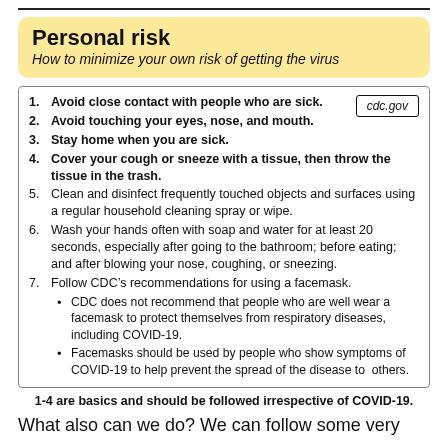Personal risk
How to minimize your own risk of getting the virus
Avoid close contact with people who are sick.
Avoid touching your eyes, nose, and mouth.
Stay home when you are sick.
Cover your cough or sneeze with a tissue, then throw the tissue in the trash.
Clean and disinfect frequently touched objects and surfaces using a regular household cleaning spray or wipe.
Wash your hands often with soap and water for at least 20 seconds, especially after going to the bathroom; before eating; and after blowing your nose, coughing, or sneezing.
Follow CDC’s recommendations for using a facemask.
CDC does not recommend that people who are well wear a facemask to protect themselves from respiratory diseases, including COVID-19.
Facemasks should be used by people who show symptoms of COVID-19 to help prevent the spread of the disease to others.
1-4 are basics and should be followed irrespective of COVID-19.
What also can we do? We can follow some very